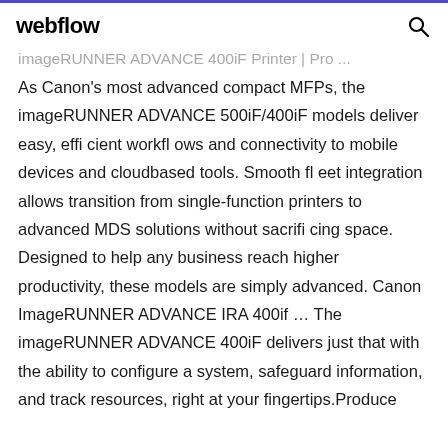webflow
imageRUNNER ADVANCE 400iF Printer | Pro ...
As Canon’s most advanced compact MFPs, the imageRUNNER ADVANCE 500iF/400iF models deliver easy, efficient workflows and connectivity to mobile devices and cloudbased tools. Smooth fleet integration allows transition from single-function printers to advanced MDS solutions without sacrificing space. Designed to help any business reach higher productivity, these models are simply advanced. Canon ImageRUNNER ADVANCE IRA 400if ... The imageRUNNER ADVANCE 400iF delivers just that with the ability to configure a system, safeguard information, and track resources, right at your fingertips.Produce